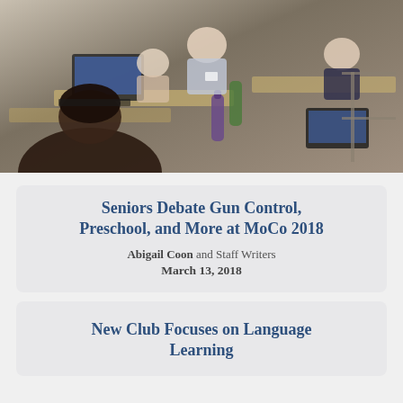[Figure (photo): Students seated at desks working on laptops and tablets in what appears to be a classroom or conference setting, viewed from above and behind.]
Seniors Debate Gun Control, Preschool, and More at MoCo 2018
Abigail Coon and Staff Writers
March 13, 2018
New Club Focuses on Language Learning